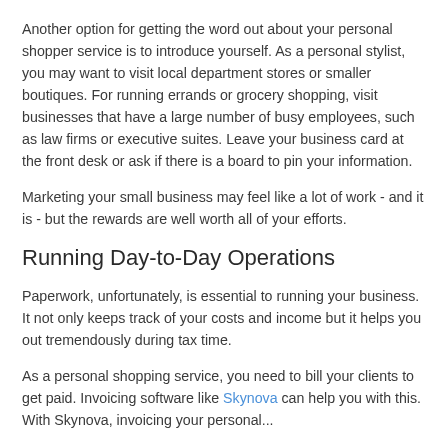Another option for getting the word out about your personal shopper service is to introduce yourself. As a personal stylist, you may want to visit local department stores or smaller boutiques. For running errands or grocery shopping, visit businesses that have a large number of busy employees, such as law firms or executive suites. Leave your business card at the front desk or ask if there is a board to pin your information.
Marketing your small business may feel like a lot of work - and it is - but the rewards are well worth all of your efforts.
Running Day-to-Day Operations
Paperwork, unfortunately, is essential to running your business. It not only keeps track of your costs and income but it helps you out tremendously during tax time.
As a personal shopping service, you need to bill your clients to get paid. Invoicing software like Skynova can help you with this. With Skynova, invoicing your personal...